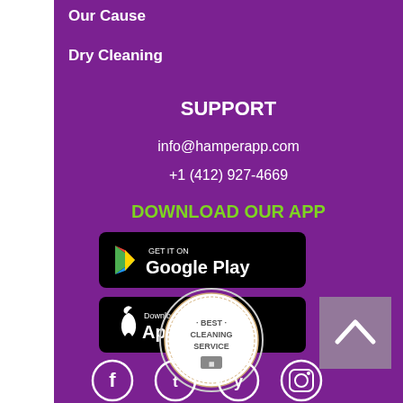Our Cause
Dry Cleaning
SUPPORT
info@hamperapp.com
+1 (412) 927-4669
DOWNLOAD OUR APP
[Figure (logo): Google Play store badge - black rounded rectangle with Play triangle icon and text GET IT ON Google Play]
[Figure (logo): Apple App Store badge - black rounded rectangle with Apple logo and text Download on the App Store]
[Figure (logo): Best Cleaning Service badge - circular seal with text BEST CLEANING SERVICE]
[Figure (illustration): Back to top button - grey square with upward pointing chevron]
[Figure (illustration): Social media icons row: Facebook, Twitter, Yelp, Instagram]